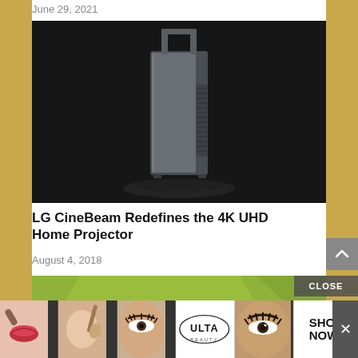June 29, 2021
[Figure (photo): LG CineBeam projector standing upright against a dark background]
LG CineBeam Redefines the 4K UHD Home Projector
August 4, 2018
[Figure (photo): Green geometric/trapezoid shape advertisement image]
[Figure (photo): ULTA Beauty advertisement banner showing makeup products and logo with SHOP NOW button]